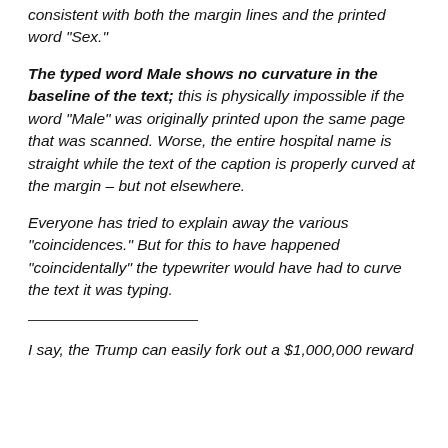consistent with both the margin lines and the printed word “Sex.”
The typed word Male shows no curvature in the baseline of the text; this is physically impossible if the word “Male” was originally printed upon the same page that was scanned. Worse, the entire hospital name is straight while the text of the caption is properly curved at the margin – but not elsewhere.
Everyone has tried to explain away the various “coincidences.” But for this to have happened “coincidentally” the typewriter would have had to curve the text it was typing.
I say, the Trump can easily fork out a $1,000,000 reward